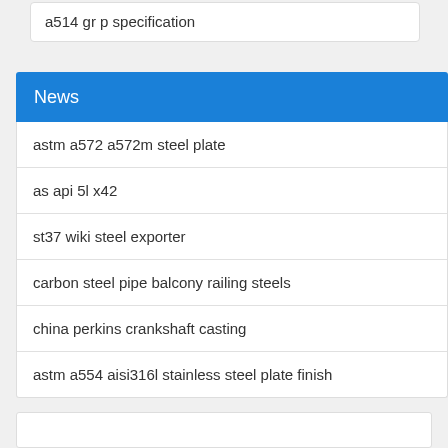a514 gr p specification
News
astm a572 a572m steel plate
as api 5l x42
st37 wiki steel exporter
carbon steel pipe balcony railing steels
china perkins crankshaft casting
astm a554 aisi316l stainless steel plate finish
[Figure (illustration): Customer service / headset icon in blue square]
[Figure (illustration): Phone / call icon in blue square]
[Figure (illustration): Skype icon in blue square]